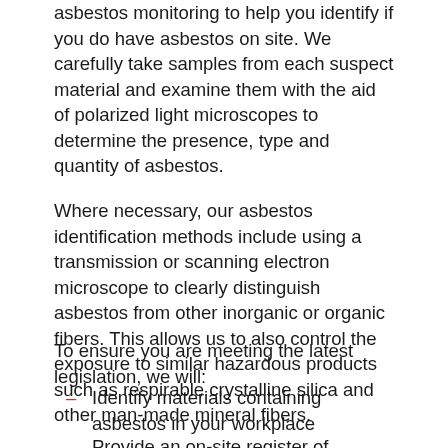asbestos monitoring to help you identify if you do have asbestos on site. We carefully take samples from each suspect material and examine them with the aid of polarized light microscopes to determine the presence, type and quantity of asbestos.
Where necessary, our asbestos identification methods include using a transmission or scanning electron microscope to clearly distinguish asbestos from other inorganic or organic fibers. This allows us to also control the exposure to similar hazardous products such as respirable crystalline silica and other man-made mineral fibers.
To ensure you are meeting the latest legislation, we will:
Identify materials containing asbestos in your workplace
Provide an on-site register of asbestos materials to